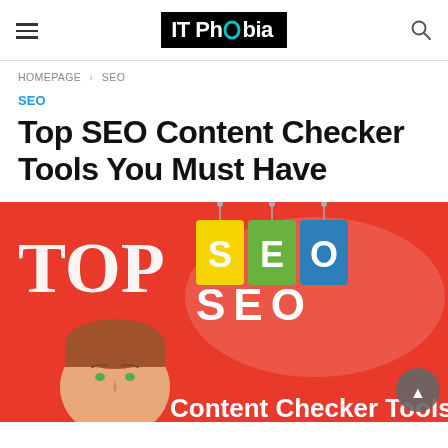IT Phobia
HOMEPAGE > SEO
SEO
Top SEO Content Checker Tools You Must Have
[Figure (illustration): Red background infographic banner showing 'TOP SEO Content Checker Tools' with hanging colored tags (yellow, green, blue) displaying S, E, O letters, a cartoon face, on a red background]